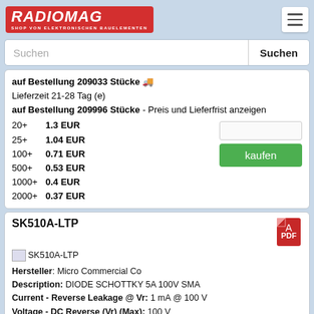RADIOMAG - SHOP VON ELEKTRONISCHEN BAUELEMENTEN
auf Bestellung 209033 Stücke
Lieferzeit 21-28 Tag (e)
auf Bestellung 209996 Stücke - Preis und Lieferfrist anzeigen
20+   1.3 EUR
25+   1.04 EUR
100+  0.71 EUR
500+  0.53 EUR
1000+ 0.4 EUR
2000+ 0.37 EUR
SK510A-LTP
[Figure (screenshot): SK510A-LTP product image placeholder]
Hersteller: Micro Commercial Co
Description: DIODE SCHOTTKY 5A 100V SMA
Current - Reverse Leakage @ Vr: 1 mA @ 100 V
Voltage - DC Reverse (Vr) (Max): 100 V
Voltage - Forward (Vf) (Max) @ If: 850 mV @ 5 A
Speed: Fast Recovery =< 500ns, > 200mA (Io)
Capacitance @ Vr, F: 200pF @ 4V, 1MHz
Current - Average Rectified (Io): 5A
Supplier Device Package: DO-214AC (SMA)
Operating Temperature - Junction: -55°C ~